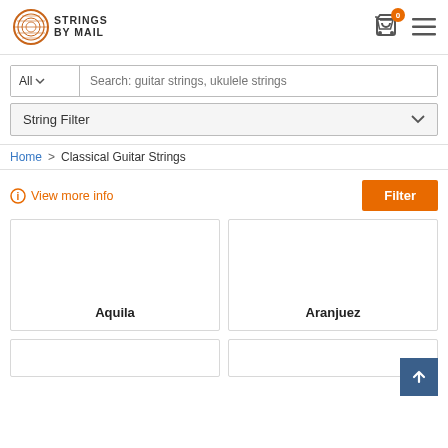[Figure (logo): Strings by Mail logo with circular graphic and text]
Search: guitar strings, ukulele strings
String Filter
Home > Classical Guitar Strings
View more info
Filter
Aquila
Aranjuez